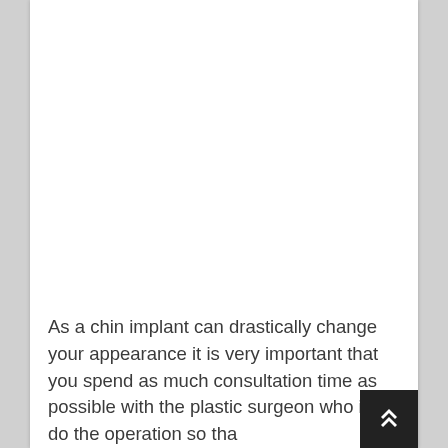As a chin implant can drastically change your appearance it is very important that you spend as much consultation time as possible with the plastic surgeon who is to do the operation so tha